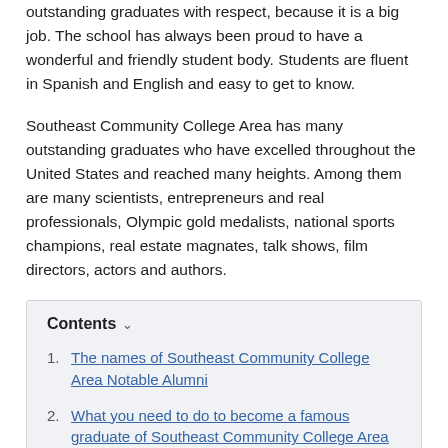outstanding graduates with respect, because it is a big job. The school has always been proud to have a wonderful and friendly student body. Students are fluent in Spanish and English and easy to get to know.
Southeast Community College Area has many outstanding graduates who have excelled throughout the United States and reached many heights. Among them are many scientists, entrepreneurs and real professionals, Olympic gold medalists, national sports champions, real estate magnates, talk shows, film directors, actors and authors.
Contents
1. The names of Southeast Community College Area Notable Alumni
2. What you need to do to become a famous graduate of Southeast Community College Area Notable Alumni